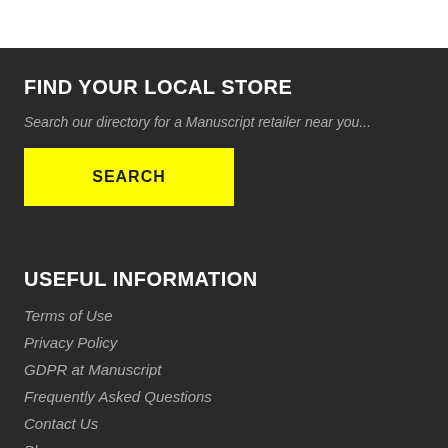FIND YOUR LOCAL STORE
Search our directory for a Manuscript retailer near you...
[Figure (other): Yellow SEARCH button]
USEFUL INFORMATION
Terms of Use
Privacy Policy
GDPR at Manuscript
Frequently Asked Questions
Contact Us
Blog